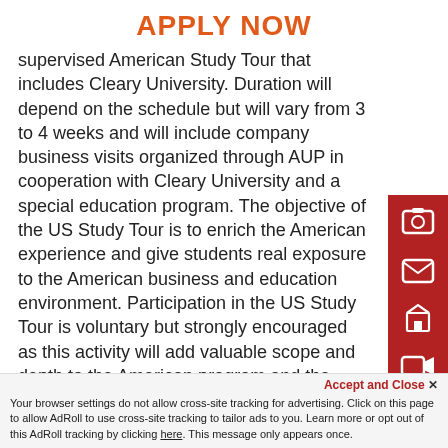APPLY NOW
supervised American Study Tour that includes Cleary University. Duration will depend on the schedule but will vary from 3 to 4 weeks and will include company business visits organized through AUP in cooperation with Cleary University and a special education program. The objective of the US Study Tour is to enrich the American experience and give students real exposure to the American business and education environment. Participation in the US Study Tour is voluntary but strongly encouraged as this activity will add valuable scope and depth to the American program and the students' personal experiences.
[Figure (infographic): Red sidebar with four white icons: a camera/apply icon, an envelope icon, a building/campus icon, and a video camera icon]
Accept and Close ×
Your browser settings do not allow cross-site tracking for advertising. Click on this page to allow AdRoll to use cross-site tracking to tailor ads to you. Learn more or opt out of this AdRoll tracking by clicking here. This message only appears once.